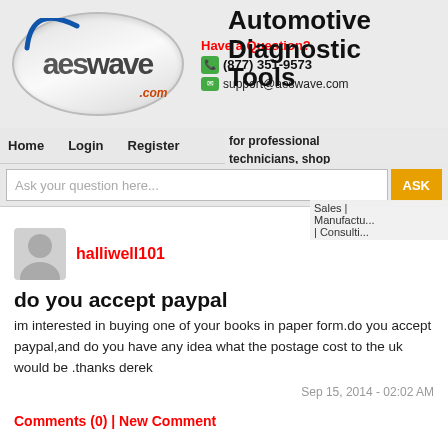[Figure (logo): AESwave.com oval logo with blue arc and red dot-com text]
Have a Question?
(877) 351-9573
support@aeswave.com
Automotive Diagnostic Tools for professional technicians, shop owners, and educators!
Home | Login | Register
Ask your question here...
Sales | Manufactu... | Consulti...
halliwell101
do you accept paypal
im interested in buying one of your books in paper form.do you accept paypal,and do you have any idea what the postage cost to the uk would be .thanks derek
Sep 15, 2014 - 02:02 AM
Comments (0) | New Comment